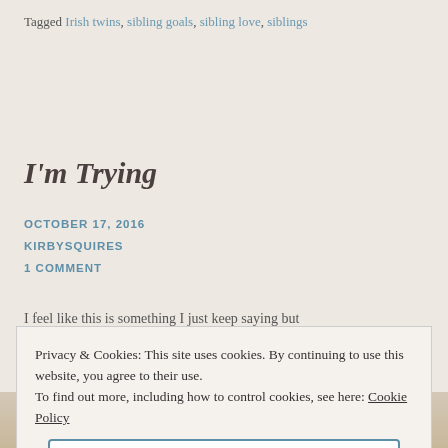Tagged Irish twins, sibling goals, sibling love, siblings
I'm Trying
OCTOBER 17, 2016
KIRBYSQUIRES
1 COMMENT
I feel like this is something I just keep saying but
Privacy & Cookies: This site uses cookies. By continuing to use this website, you agree to their use. To find out more, including how to control cookies, see here: Cookie Policy
Close and accept
[Figure (photo): Photo of two people, likely siblings, with blonde hair visible at the bottom of the page]